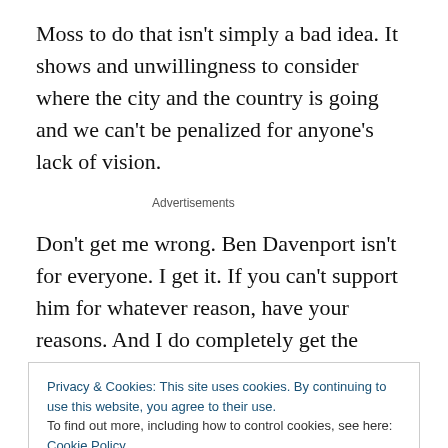Moss to do that isn't simply a bad idea. It shows and unwillingness to consider where the city and the country is going and we can't be penalized for anyone's lack of vision.
Advertisements
Don't get me wrong. Ben Davenport isn't for everyone. I get it. If you can't support him for whatever reason, have your reasons. And I do completely get the desire to end
Privacy & Cookies: This site uses cookies. By continuing to use this website, you agree to their use.
To find out more, including how to control cookies, see here: Cookie Policy
Close and accept